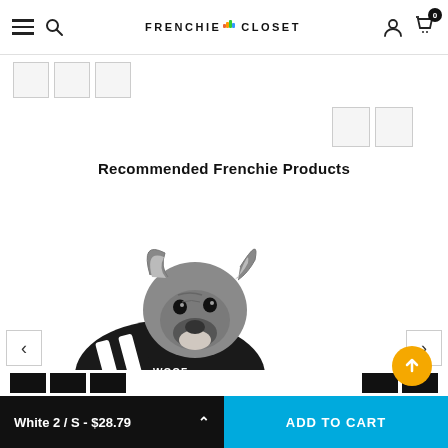FRENCHIE CLOSET - navigation header with hamburger menu, search, account, and cart (0 items)
[Figure (photo): Thumbnail strip of 3 small boxes at top left, and 2 small boxes at top right]
Recommended Frenchie Products
[Figure (photo): French Bulldog wearing a black and white striped hoodie with 'WOOF' text, sitting on white background]
White 2 / S - $28.79 | ADD TO CART